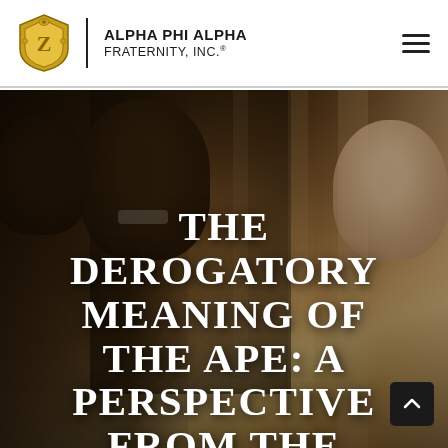ALPHA PHI ALPHA FRATERNITY, INC.®
[Figure (photo): Background photo of men in professional attire, partially visible faces, warm-toned indoor setting]
THE DEROGATORY MEANING OF THE APE: A PERSPECTIVE FROM THE